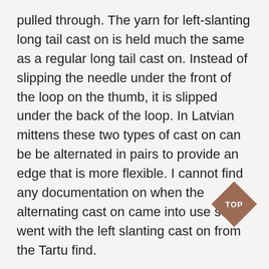pulled through. The yarn for left-slanting long tail cast on is held much the same as a regular long tail cast on. Instead of slipping the needle under the front of the loop on the thumb, it is slipped under the back of the loop. In Latvian mittens these two types of cast on can be be alternated in pairs to provide an edge that is more flexible. I cannot find any documentation on when the alternating cast on came into use so went with the left slanting cast on from the Tartu find.
The mitten from Tallinn also had a long tail cast on and there was no purl
[Figure (other): Diamond-shaped brown badge with white text reading 'TOP']